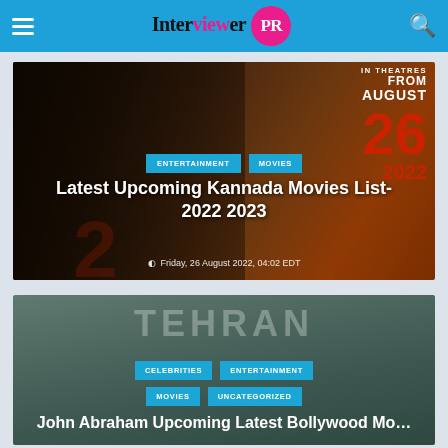InterviewerPR
[Figure (photo): Movie promotional image for upcoming Kannada movies with dark themed poster showing actor and 'In Theatres From August 26 2022' text]
ENTERTAINMENT   MOVIES
Latest Upcoming Kannada Movies List- 2022 2023
Friday, 26 August 2022, 04:02 EDT
[Figure (photo): Movie promotional image for Tehran featuring John Abraham]
CELEBRITIES   ENTERTAINMENT   MOVIES   UNCATEGORIZED
John Abraham Upcoming Latest Bollywood Movies